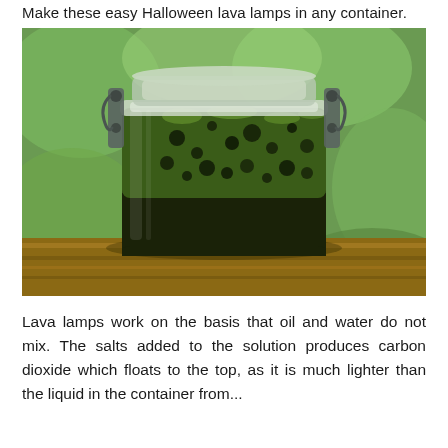Make these easy Halloween lava lamps in any container.
[Figure (photo): A glass clip-top jar filled with a dark green bubbly liquid resembling a lava lamp, sitting on a wooden surface with a green blurred background.]
Lava lamps work on the basis that oil and water do not mix. The salts added to the solution produces carbon dioxide which floats to the top, as it is much lighter than the liquid in the container from...